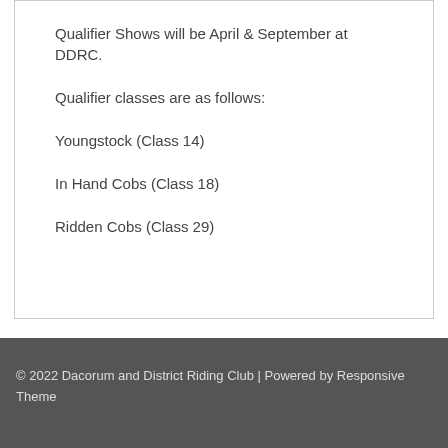Qualifier Shows will be April & September at DDRC.
Qualifier classes are as follows:
Youngstock (Class 14)
In Hand Cobs (Class 18)
Ridden Cobs (Class 29)
© 2022 Dacorum and District Riding Club | Powered by Responsive Theme